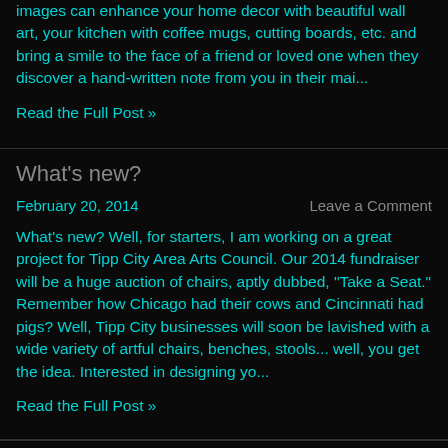images can enhance your home decor with beautiful wall art, your kitchen with coffee mugs, cutting boards, etc. and bring a smile to the face of a friend or loved one when they discover a hand-written note from you in their mai...
Read the Full Post »
What's new?
February 20, 2014
Leave a Comment
What's new? Well, for starters, I am working on a great project for Tipp City Area Arts Council. Our 2014 fundraiser will be a huge auction of chairs, aptly dubbed, "Take a Seat." Remember how Chicago had their cows and Cincinnati had pigs? Well, Tipp City businesses will soon be lavished with a wide variety of artful chairs, benches, stools... well, you get the idea. Interested in designing yo...
Read the Full Post »
T... N... Vi...